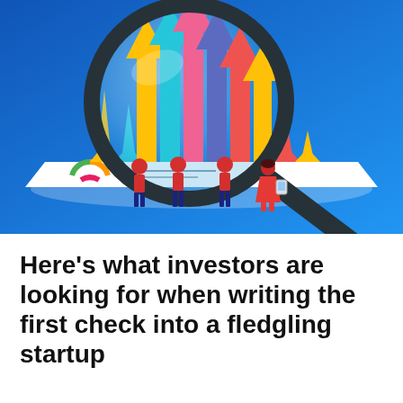[Figure (illustration): Business illustration on a blue gradient background showing a large magnifying glass over upward-pointing colorful arrows (yellow, teal, pink/red, blue, orange, red, yellow) rising from a white document/chart. Four figures in red outfits stand in front of the document examining it — three appear to be men and one a woman holding a tablet.]
Here's what investors are looking for when writing the first check into a fledgling startup